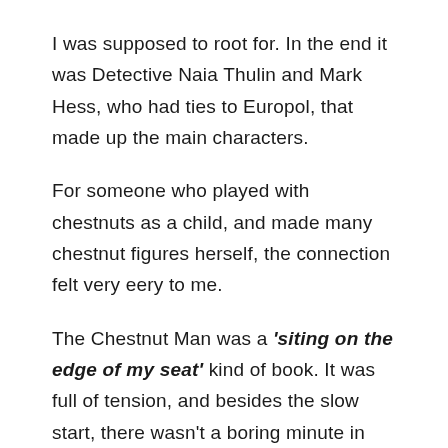I was supposed to root for. In the end it was Detective Naia Thulin and Mark Hess, who had ties to Europol, that made up the main characters.
For someone who played with chestnuts as a child, and made many chestnut figures herself, the connection felt very eery to me.
The Chestnut Man was a 'siting on the edge of my seat' kind of book. It was full of tension, and besides the slow start, there wasn't a boring minute in the entire book. On top of it the killer was fantastically unexpected. But, the book is definitely not for the faint-hearted. People are dropping like flies, which of course adds to the